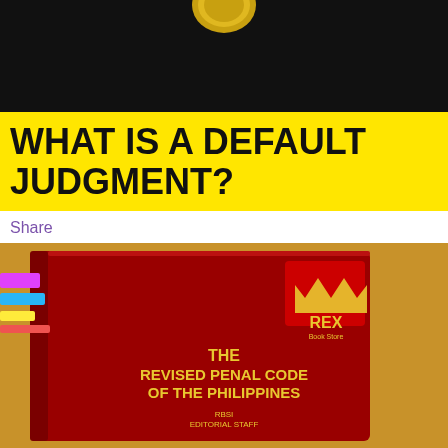[Figure (photo): Dark background with partial view of a coin or seal at the top, cropped]
WHAT IS A DEFAULT JUDGMENT?
Share
[Figure (photo): Photo of a red hardcover book titled 'The Revised Penal Code of the Philippines' by RBSI Editorial Staff, published by Rex Book Store]
SPECIAL PENAL LAWS IN THE PHILIPINES